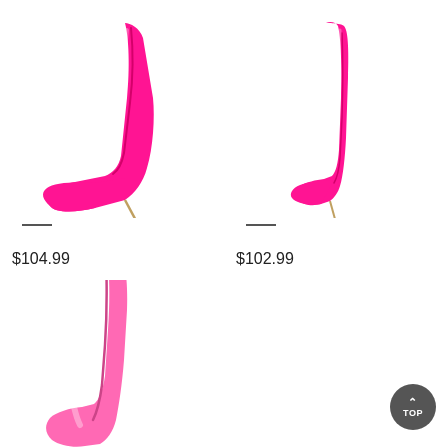[Figure (photo): Hot pink patent leather over-the-knee stiletto boot, left product, facing left, laid flat/folded]
[Figure (photo): Hot pink patent leather over-the-knee stiletto boot, right product, standing upright]
$104.99
$102.99
[Figure (photo): Bright pink/fuchsia patent leather thigh-high boot, bottom left, partial view]